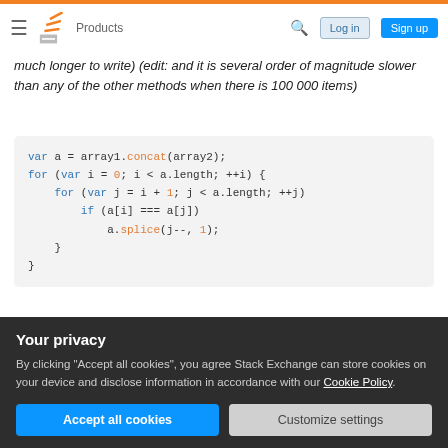Stack Overflow navigation bar with hamburger menu, logo, Products, search, Log in, Sign up
much longer to write) (edit: and it is several order of magnitude slower than any of the other methods when there is 100 000 items)
[Figure (screenshot): Code block showing JavaScript: var a = array1.concat(array2); for (var i = 0; i < a.length; ++i) { for (var j = i + 1; j < a.length; ++j) if (a[i] === a[j]) a.splice(j--, 1); } }]
https://jsperf.com/merge-2-arrays-without-duplicate
Your privacy
By clicking "Accept all cookies", you agree Stack Exchange can store cookies on your device and disclose information in accordance with our Cookie Policy.
Accept all cookies   Customize settings